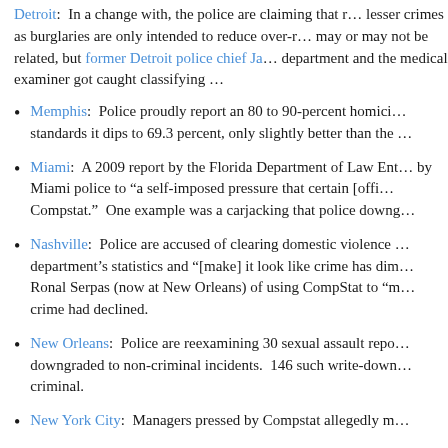Detroit: In a change with, the police are claiming that r... lesser crimes as burglaries are only intended to reduce over-r... may or may not be related, but former Detroit police chief Ja... department and the medical examiner got caught classifying ...
Memphis: Police proudly report an 80 to 90-percent homici... standards it dips to 69.3 percent, only slightly better than the ...
Miami: A 2009 report by the Florida Department of Law En... by Miami police to “a self-imposed pressure that certain [offi... Compstat.” One example was a carjacking that police downg...
Nashville: Police are accused of clearing domestic violence ... department’s statistics and “[make] it look like crime has dim... Ronal Serpas (now at New Orleans) of using CompStat to “m... crime had declined.
New Orleans: Police are reexamining 30 sexual assault repo... downgraded to non-criminal incidents. 146 such write-down... criminal.
New York City: Managers pressed by Compstat allegedly m...